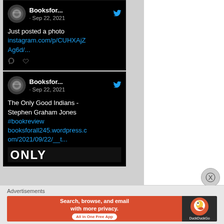[Figure (screenshot): Screenshot of two Twitter/social media posts by 'Booksfor...' dated Sep 22, 2021. First post: 'Just posted a photo instagram.com/p/CUHXAjZAg6d/...' with comment and heart icons. Second post: 'The Only Good Indians - Stephen Graham Jones #bookreview booksforall245.wordpress.com/2021/09/22/__t...' with partial book cover image showing 'ONLY'. Both posts have dark/black background. A close/X button appears on the right side.]
Advertisements
[Figure (screenshot): DuckDuckGo advertisement banner: orange/red left section with white text 'Search, browse, and email with more privacy.' and white pill button 'All in One Free App'. Dark right section with DuckDuckGo duck logo and 'DuckDuckGo' text.]